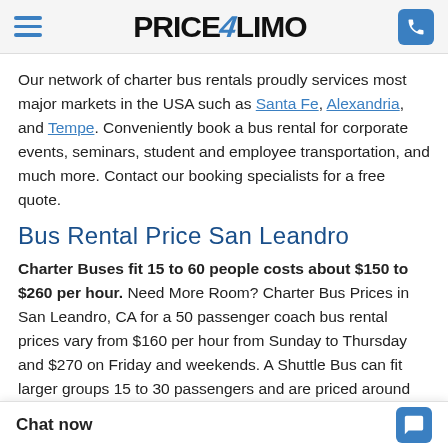Price4Limo navigation header with hamburger menu, logo, and phone button
Our network of charter bus rentals proudly services most major markets in the USA such as Santa Fe, Alexandria, and Tempe. Conveniently book a bus rental for corporate events, seminars, student and employee transportation, and much more. Contact our booking specialists for a free quote.
Bus Rental Price San Leandro
Charter Buses fit 15 to 60 people costs about $150 to $260 per hour. Need More Room? Charter Bus Prices in San Leandro, CA for a 50 passenger coach bus rental prices vary from $160 per hour from Sunday to Thursday and $270 on Friday and weekends. A Shuttle Bus can fit larger groups 15 to 30 passengers and are priced around $110 to $160 per hour. Minibus pricing sta... Coach Bus Pricing and A...